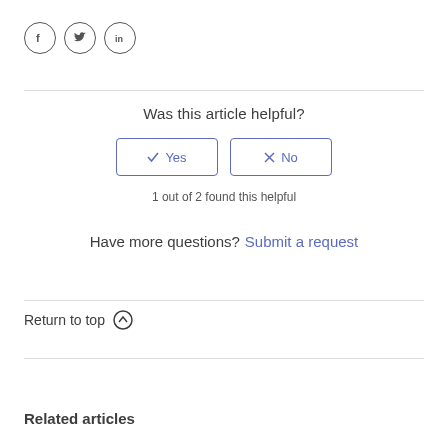[Figure (other): Social media icons: Facebook (f), Twitter (bird), LinkedIn (in) — circular outlined icons]
Was this article helpful?
✓ Yes  ✗ No (buttons)
1 out of 2 found this helpful
Have more questions? Submit a request
Return to top ↑
Related articles